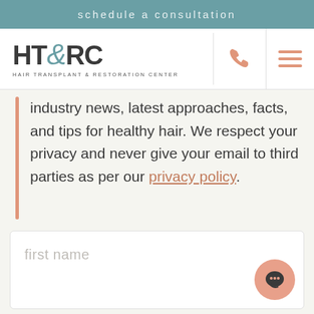schedule a consultation
[Figure (logo): HT&RC Hair Transplant & Restoration Center logo with teal ampersand]
industry news, latest approaches, facts, and tips for healthy hair. We respect your privacy and never give your email to third parties as per our privacy policy.
first name